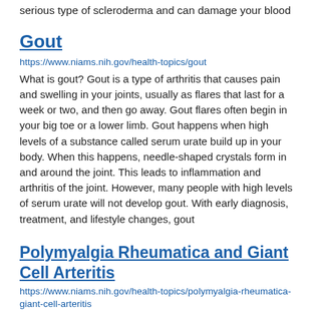serious type of scleroderma and can damage your blood
Gout
https://www.niams.nih.gov/health-topics/gout
What is gout? Gout is a type of arthritis that causes pain and swelling in your joints, usually as flares that last for a week or two, and then go away. Gout flares often begin in your big toe or a lower limb. Gout happens when high levels of a substance called serum urate build up in your body. When this happens, needle-shaped crystals form in and around the joint. This leads to inflammation and arthritis of the joint. However, many people with high levels of serum urate will not develop gout. With early diagnosis, treatment, and lifestyle changes, gout
Polymyalgia Rheumatica and Giant Cell Arteritis
https://www.niams.nih.gov/health-topics/polymyalgia-rheumatica-giant-cell-arteritis
What are polymyalgia rheumatica and giant cell arteritis? Polymyalgia rheumatica and giant cell arteritis are closely linked inflammatory disorders. Some people have one of the disorders while others develop both of them. Polymyalgia rheumatica causes muscle pain and stiffness in the shoulders, upper arms, hip area, and